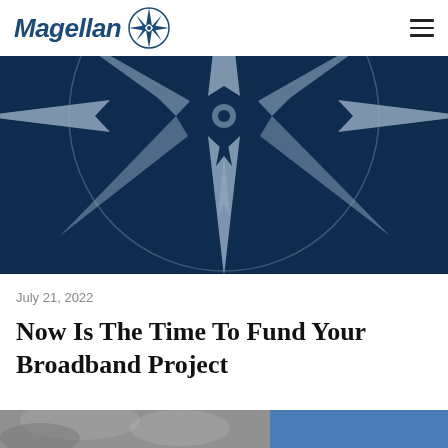Magellan [logo with compass star]
[Figure (illustration): Dark navy blue background with large grey and navy compass star/rose logo centered, showing pointed rays of the Magellan compass icon]
July 21, 2022
Now Is The Time To Fund Your Broadband Project
[Figure (photo): Partial bottom image showing a black and white outdoor scene on the left and a blue panel on the right, cropped at the bottom of the page]